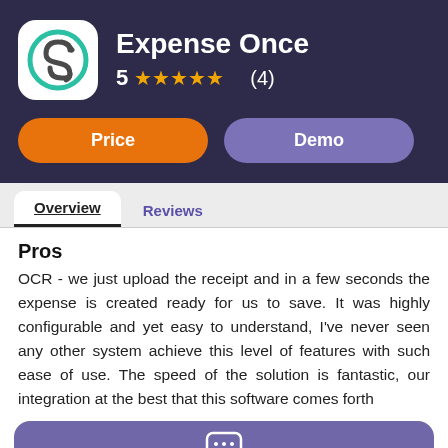Expense Once
5 ★★★★★ (4)
Price  Demo
Overview  Reviews
Pros
OCR - we just upload the receipt and in a few seconds the expense is created ready for us to save. It was highly configurable and yet easy to understand, I've never seen any other system achieve this level of features with such ease of use. The speed of the solution is fantastic, our integration at the best...
Chat